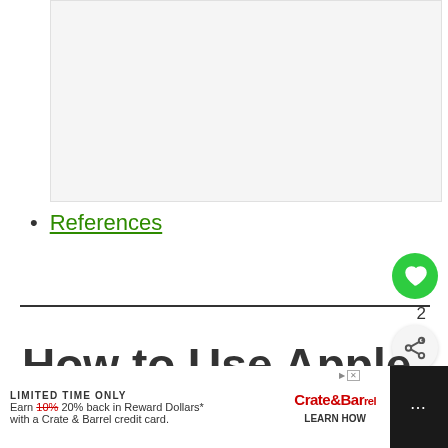[Figure (other): Light gray rectangular ad placeholder area at top of page]
References
[Figure (other): Green circle heart/like button showing count of 2, and a share button below]
How to Use Apple Pay at
[Figure (other): Advertisement banner: LIMITED TIME ONLY - Earn 10% 20% back in Reward Dollars* with a Crate & Barrel credit card. LEARN HOW. Crate&Barrel logo.]